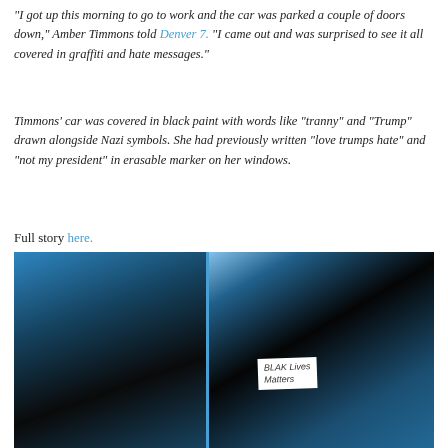“I got up this morning to go to work and the car was parked a couple of doors down,” Amber Timmons told Denver 7. “I came out and was surprised to see it all covered in graffiti and hate messages.”
Timmons’ car was covered in black paint with words like “tranny” and “Trump” drawn alongside Nazi symbols. She had previously written “love trumps hate” and “not my president” in erasable marker on her windows.
Full story here.
[Figure (photo): Two side-by-side screengrab images showing an Arkansas school board member in blackface]
Arkansas school board member in blackface (Screengrab).